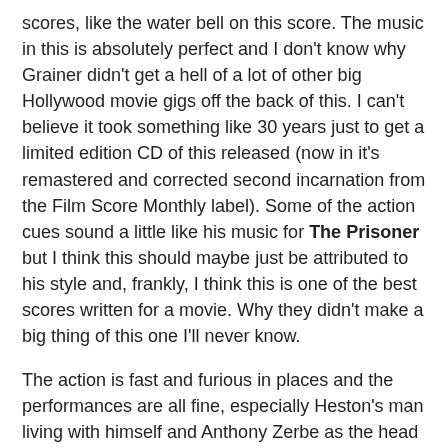scores, like the water bell on this score. The music in this is absolutely perfect and I don't know why Grainer didn't get a hell of a lot of other big Hollywood movie gigs off the back of this. I can't believe it took something like 30 years just to get a limited edition CD of this released (now in it's remastered and corrected second incarnation from the Film Score Monthly label). Some of the action cues sound a little like his music for The Prisoner but I think this should maybe just be attributed to his style and, frankly, I think this is one of the best scores written for a movie. Why they didn't make a big thing of this one I'll never know.
The action is fast and furious in places and the performances are all fine, especially Heston's man living with himself and Anthony Zerbe as the head of "the family" of mutants, although his preachy, pseudo-religioso performance does start to grate a bit towards the end. There's a strong Christ analogy at the finish which is not exactly subtle and that fits right in with the general zeitgeist of the time, methinks. Whether you like it or not, I think I'd have to peg The Omega Man as a sci-fi classic... a film that I'm likely to travel back to every few years (not like the other versions I've seen).